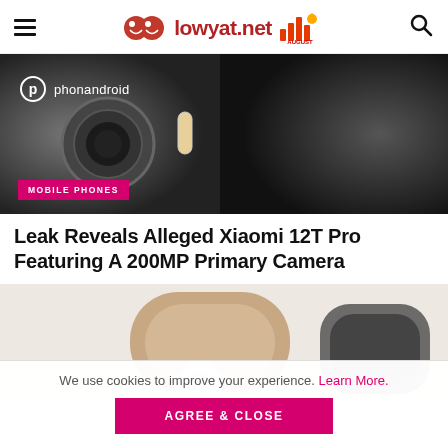lowyat.net
[Figure (photo): Close-up photo of smartphone camera module with phonandroid watermark, dark background. Magenta MOBILE PHONES tag at bottom left.]
Leak Reveals Alleged Xiaomi 12T Pro Featuring A 200MP Primary Camera
[Figure (photo): Photo of wireless earbuds in an open charging case, beige/gold color, against a light background.]
We use cookies to improve your experience. Learn More.
AGREE & CLOSE